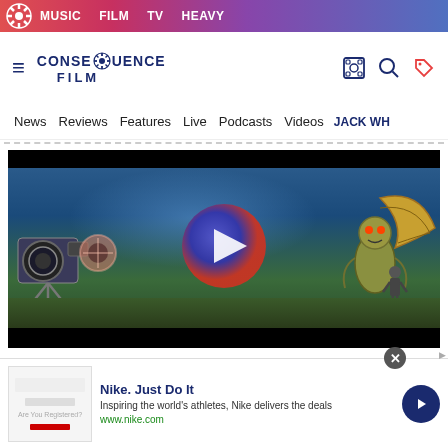MUSIC   FILM   TV   HEAVY
[Figure (logo): Consequence Film logo with gear icon and site navigation icons]
News   Reviews   Features   Live   Podcasts   Videos   JACK WH
[Figure (screenshot): Video player showing a cinematic film scene with a camera, creatures, and a blue/red play button overlay on a dark background]
Nike. Just Do It
Inspiring the world's athletes, Nike delivers the deals
www.nike.com